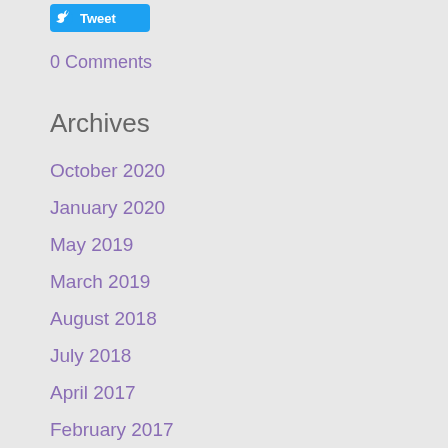[Figure (other): Twitter Tweet button with bird icon]
0 Comments
Archives
October 2020
January 2020
May 2019
March 2019
August 2018
July 2018
April 2017
February 2017
January 2017
December 2016
November 2016
October 2016
August 2016
July 2016
February 2016